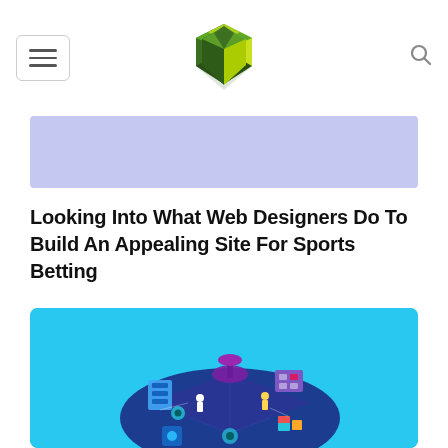Navigation header with hamburger menu, V logo, and search icon
[Figure (other): Light purple/lavender banner advertisement area]
Looking Into What Web Designers Do To Build An Appealing Site For Sports Betting
[Figure (illustration): Isometric illustration of web/tech infrastructure with servers, satellite dish, data platform, and small figures on a cyan/turquoise background]